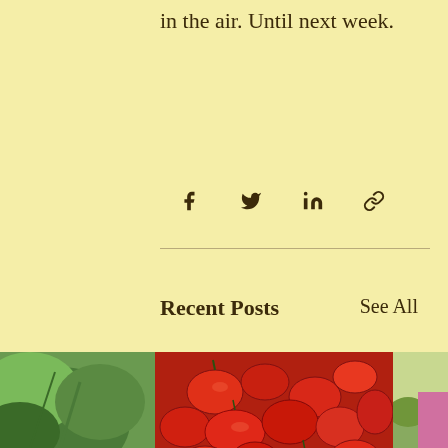in the air. Until next week.
[Figure (infographic): Social sharing icons: Facebook (f), Twitter bird, LinkedIn (in), and chain link icon, arranged horizontally]
Recent Posts
See All
[Figure (photo): Partial view of green plant/vegetable on left side]
[Figure (photo): A large pile of ripe red Roma/paste tomatoes filling the frame]
[Figure (photo): Partial view on right side showing outdoor scene with pink clothing]
Tomato canning season begins